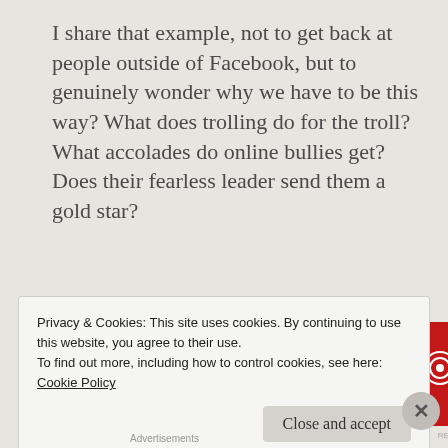I share that example, not to get back at people outside of Facebook, but to genuinely wonder why we have to be this way? What does trolling do for the troll? What accolades do online bullies get? Does their fearless leader send them a gold star?
[Figure (other): Pocket Casts advertisement banner: red background with white text 'An app by listeners, for listeners.' and Pocket Casts logo with phone image showing 'Distributed' text]
Privacy & Cookies: This site uses cookies. By continuing to use this website, you agree to their use.
To find out more, including how to control cookies, see here:
Cookie Policy
Close and accept